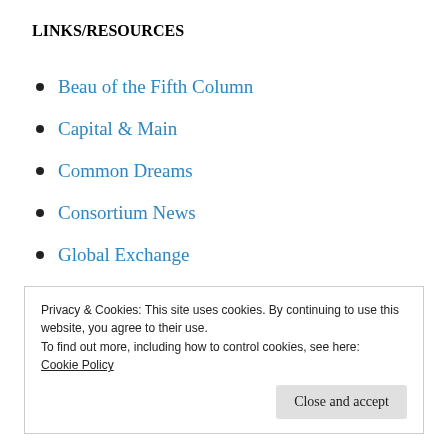LINKS/RESOURCES
Beau of the Fifth Column
Capital & Main
Common Dreams
Consortium News
Global Exchange
Moon of Alabama
Press TV
The al Jazeera Site
Privacy & Cookies: This site uses cookies. By continuing to use this website, you agree to their use.
To find out more, including how to control cookies, see here:
Cookie Policy
Close and accept